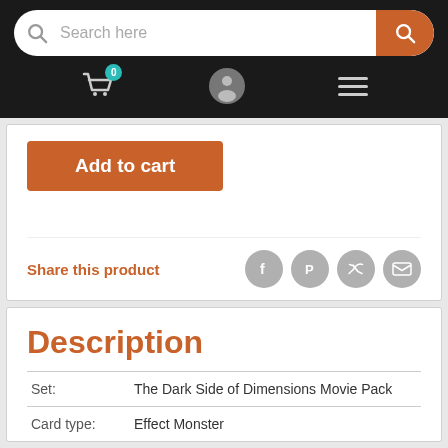Search here
[Figure (screenshot): Navigation bar with shopping cart (badge 0), user icon, and hamburger menu icon]
Add to cart
Share this product
Description
| Set: | The Dark Side of Dimensions Movie Pack |
| Card type: | Effect Monster |